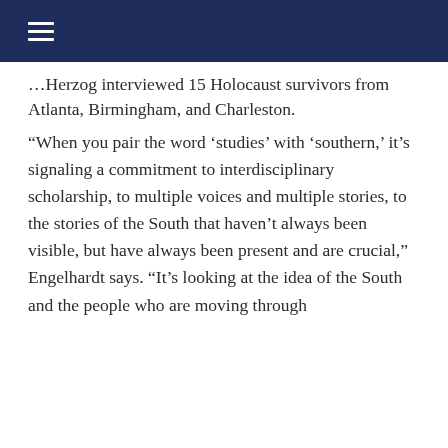≡ (navigation menu icon)
Herzog interviewed 15 Holocaust survivors from Atlanta, Birmingham, and Charleston.
“When you pair the word ‘studies’ with ‘southern,’ it’s signaling a commitment to interdisciplinary scholarship, to multiple voices and multiple stories, to the stories of the South that haven’t always been visible, but have always been present and are crucial,” Engelhardt says. “It’s looking at the idea of the South and the people who are moving through